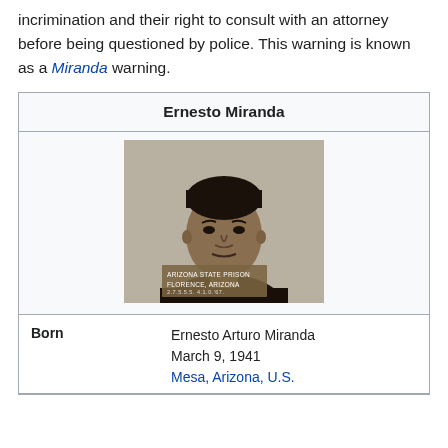incrimination and their right to consult with an attorney before being questioned by police. This warning is known as a Miranda warning.
| Ernesto Miranda |
| --- |
| [mugshot photo of Ernesto Miranda at Arizona State Prison, Florence, Arizona. Sign: ARIZONA STATE PRISON FLORENCE, ARIZONA 2.7.5.5.5. 4.1.0.'67.] |
| Born | Ernesto Arturo Miranda
March 9, 1941
Mesa, Arizona, U.S. |
[Figure (photo): Black and white mugshot photograph of Ernesto Miranda at Arizona State Prison, Florence, Arizona. A placard in front reads: ARIZONA STATE PRISON FLORENCE, ARIZONA 2.7.5.5.5. 4.1.0.'67.]